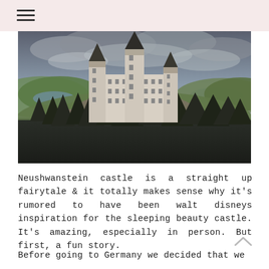[Figure (photo): Aerial photograph of Neuschwanstein Castle perched on a hill surrounded by dark conifer trees, with green rolling hills, lakes, and a dramatic cloudy sky in the background.]
Neushwanstein castle is a straight up fairytale & it totally makes sense why it’s rumored to have been walt disneys inspiration for the sleeping beauty castle. It’s amazing, especially in person. But first, a fun story.
Before going to Germany we decided that we